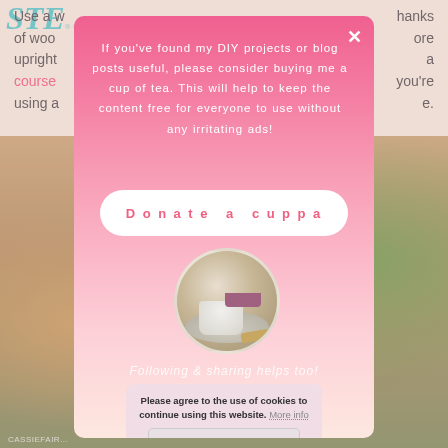STE...
Use a w...planks of woo...more upright...a course...you're using a...e.
[Figure (photo): Background photo of wooden furniture being assembled outdoors with greenery in background. Photo credit: CASSIEFAIR...]
[Figure (screenshot): Modal popup with pink gradient background. Contains: close X button, text about DIY projects and buying a cup of tea, Donate a cuppa button, circular image of tea cup with biscuits, italic text 'Following & sharing helps too!', and a cookie consent notice.]
If you've found my DIY projects or blog posts useful, please consider buying me a cup of tea. This will help to keep the content free for everyone to use without any irritating ads!
Donate a cuppa
Following & sharing helps too!
Please agree to the use of cookies to continue using this website. More info
Accept
CASSIEFAIR...